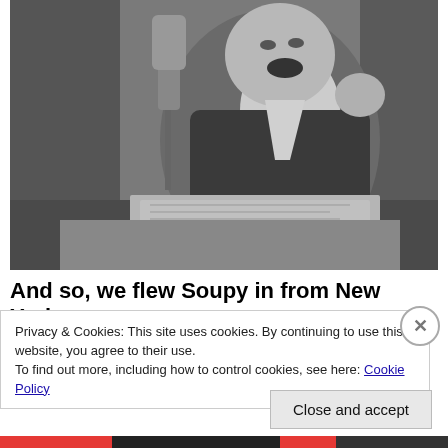[Figure (photo): Black and white photo of a laughing man at a radio microphone, sitting at a desk with papers, holding one finger up]
And so, we flew Soupy in from New York,
Privacy & Cookies: This site uses cookies. By continuing to use this website, you agree to their use.
To find out more, including how to control cookies, see here: Cookie Policy
Close and accept